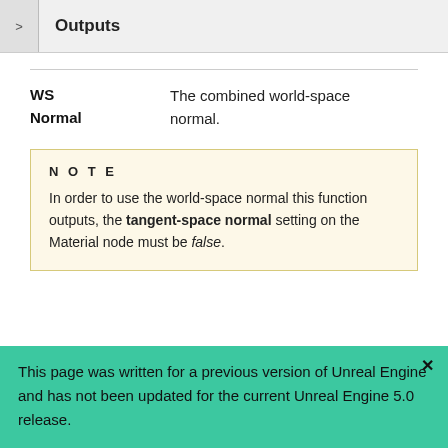Outputs
WS Normal	The combined world-space normal.
NOTE
In order to use the world-space normal this function outputs, the tangent-space normal setting on the Material node must be false.
This page was written for a previous version of Unreal Engine and has not been updated for the current Unreal Engine 5.0 release.